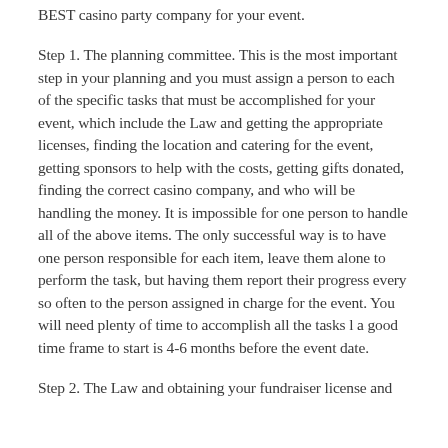BEST casino party company for your event.
Step 1. The planning committee. This is the most important step in your planning and you must assign a person to each of the specific tasks that must be accomplished for your event, which include the Law and getting the appropriate licenses, finding the location and catering for the event, getting sponsors to help with the costs, getting gifts donated, finding the correct casino company, and who will be handling the money. It is impossible for one person to handle all of the above items. The only successful way is to have one person responsible for each item, leave them alone to perform the task, but having them report their progress every so often to the person assigned in charge for the event. You will need plenty of time to accomplish all the tasks l a good time frame to start is 4-6 months before the event date.
Step 2. The Law and obtaining your fundraiser license and